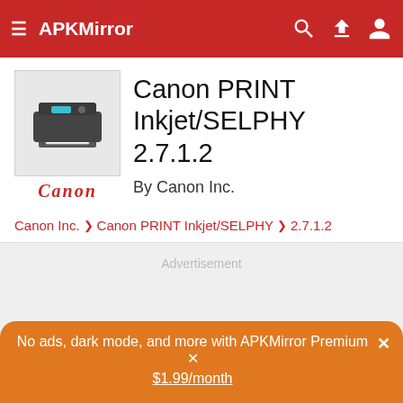APKMirror
Canon PRINT Inkjet/SELPHY 2.7.1.2
By Canon Inc.
Canon Inc. > Canon PRINT Inkjet/SELPHY > 2.7.1.2
Advertisement
No ads, dark mode, and more with APKMirror Premium × $1.99/month